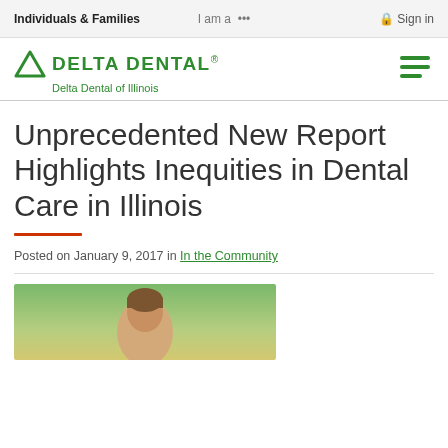Individuals & Families   I am a •••   Sign in
[Figure (logo): Delta Dental logo with green triangle and wordmark, Delta Dental of Illinois subtext, and green hamburger menu icon]
Unprecedented New Report Highlights Inequities in Dental Care in Illinois
Posted on January 9, 2017 in In the Community
[Figure (photo): Partial photo of a person outdoors on a green background, cropped at bottom of page]